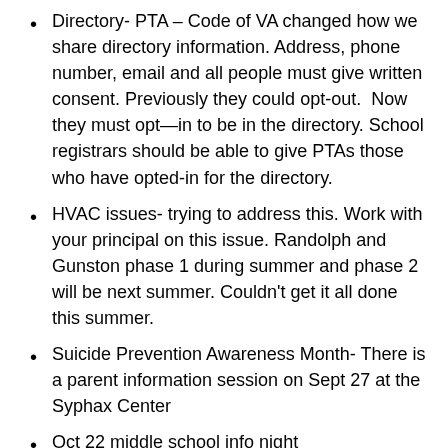Directory- PTA – Code of VA changed how we share directory information. Address, phone number, email and all people must give written consent. Previously they could opt-out.  Now they must opt—in to be in the directory. School registrars should be able to give PTAs those who have opted-in for the directory.
HVAC issues- trying to address this. Work with your principal on this issue. Randolph and Gunston phase 1 during summer and phase 2 will be next summer. Couldn't get it all done this summer.
Suicide Prevention Awareness Month- There is a parent information session on Sept 27 at the Syphax Center
Oct 22 middle school info night
Colander Kristi Member assistant...